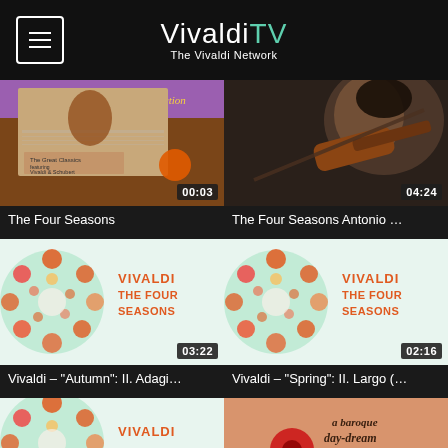VivaldiTV — The Vivaldi Network
[Figure (screenshot): Video thumbnail: album cover for The Great Classics featuring Vivaldi & Schubert, brown background, Collection label, duration 00:03]
The Four Seasons
[Figure (screenshot): Video thumbnail: close-up of violinist playing violin, dark blurred background, duration 04:24]
The Four Seasons Antonio …
[Figure (screenshot): Video thumbnail: Vivaldi The Four Seasons graphic with floral mandala on light green background, duration 03:22]
Vivaldi – "Autumn": II. Adagi…
[Figure (screenshot): Video thumbnail: Vivaldi The Four Seasons graphic with floral mandala on light green background, duration 02:16]
Vivaldi – "Spring": II. Largo (…
[Figure (screenshot): Video thumbnail: Vivaldi Four Seasons graphic partial, duration 01:43]
[Figure (screenshot): Video thumbnail: a baroque day-dream book/album cover with red poppy, duration 01:06]